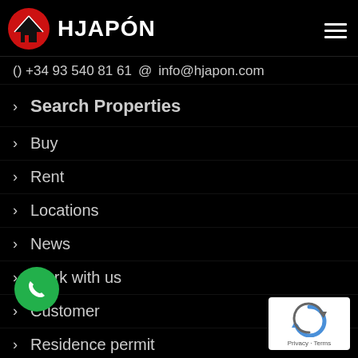[Figure (logo): HJAPON logo with red circle/house icon and bold white text HJAPON]
() +34 93 540 81 61 @ info@hjapon.com
Search Properties
Buy
Rent
Locations
News
Work with us
Customer
Residence permit
n Home Project
Buy & Rent Guides
[Figure (other): reCAPTCHA widget showing Privacy - Terms]